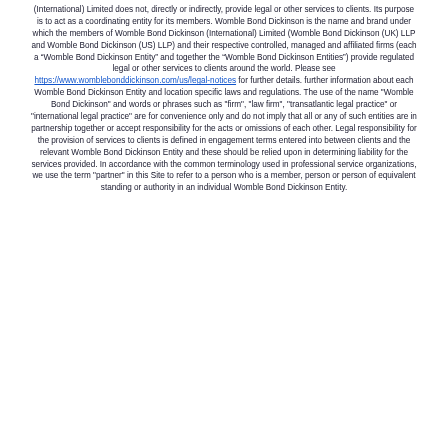(International) Limited does not, directly or indirectly, provide legal or other services to clients. Its purpose is to act as a coordinating entity for its members. Womble Bond Dickinson is the name and brand under which the members of Womble Bond Dickinson (International) Limited (Womble Bond Dickinson (UK) LLP and Womble Bond Dickinson (US) LLP) and their respective controlled, managed and affiliated firms (each a “Womble Bond Dickinson Entity” and together the “Womble Bond Dickinson Entities”) provide regulated legal or other services to clients around the world. Please see https://www.womblebonddickinson.com/us/legal-notices for further details. further information about each Womble Bond Dickinson Entity and location specific laws and regulations. The use of the name "Womble Bond Dickinson" and words or phrases such as "firm", "law firm", "transatlantic legal practice" or "international legal practice" are for convenience only and do not imply that all or any of such entities are in partnership together or accept responsibility for the acts or omissions of each other. Legal responsibility for the provision of services to clients is defined in engagement terms entered into between clients and the relevant Womble Bond Dickinson Entity and these should be relied upon in determining liability for the services provided. In accordance with the common terminology used in professional service organizations, we use the term "partner" in this Site to refer to a person who is a member, person or person of equivalent standing or authority in an individual Womble Bond Dickinson Entity.